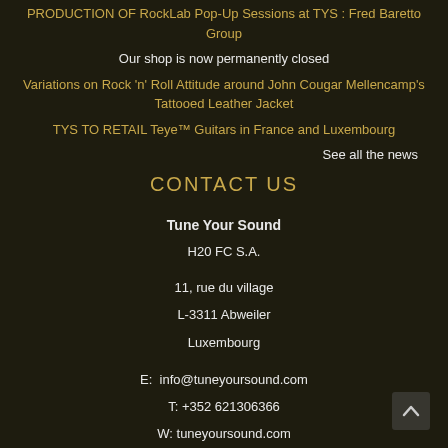PRODUCTION OF RockLab Pop-Up Sessions at TYS : Fred Baretto Group
Our shop is now permanently closed
Variations on Rock 'n' Roll Attitude around John Cougar Mellencamp's Tattooed Leather Jacket
TYS TO RETAIL Teye™ Guitars in France and Luxembourg
See all the news
CONTACT US
Tune Your Sound
H20 FC S.A.
11, rue du village
L-3311 Abweiler
Luxembourg
E: info@tuneyoursound.com
T: +352 621306366
W: tuneyoursound.com